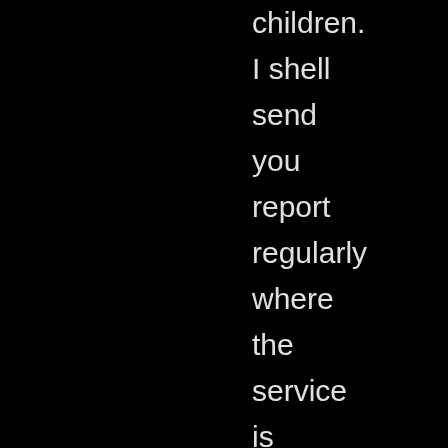children. I shell send you report regularly where the service is conducted supported with pictures for prayer. Your love and offerings to this service is much more needed